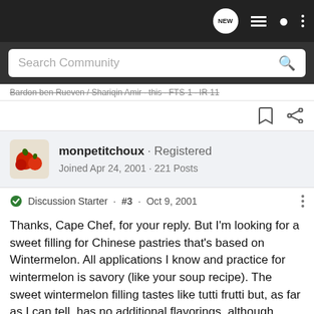[Figure (screenshot): Top navigation bar with dark background showing NEW chat bubble icon, list icon, person icon, and three-dots menu icon]
[Figure (screenshot): Search Community input bar with magnifying glass icon on dark background]
Bardon ben Rueven / Shariqin Amir · this · FTS-1 · IR 11
[Figure (screenshot): Bookmark and share icons on white background]
[Figure (screenshot): User avatar showing tomatoes image]
monpetitchoux · Registered
Joined Apr 24, 2001 · 221 Posts
Discussion Starter · #3 · Oct 9, 2001
Thanks, Cape Chef, for your reply. But I'm looking for a sweet filling for Chinese pastries that's based on Wintermelon. All applications I know and practice for wintermelon is savory (like your soup recipe). The sweet wintermelon filling tastes like tutti frutti but, as far as I can tell, has no additional flavorings, although some pastry makers do add in stuff like candied citron,